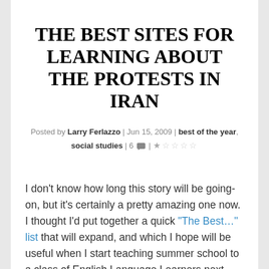THE BEST SITES FOR LEARNING ABOUT THE PROTESTS IN IRAN
Posted by Larry Ferlazzo | Jun 15, 2009 | best of the year, social studies | 6 💬 | ★☆☆☆☆
I don't know how long this story will be going-on, but it's certainly a pretty amazing one now. I thought I'd put together a quick "The Best…" list that will expand, and which I hope will be useful when I start teaching summer school to a class of English Language Learners next week.
Here are my picks for The Best Sites For Learning About The Protests In Iran (and, of course, that are accessible to ELL's):